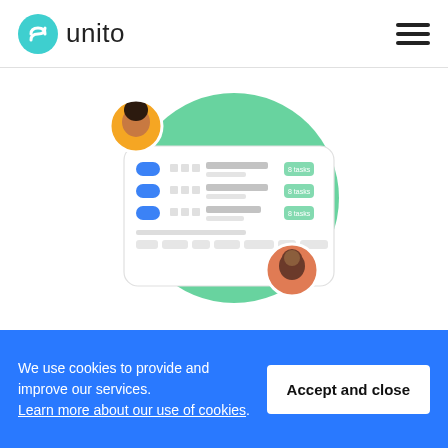[Figure (logo): Unito logo: teal circle with white wave/S mark, followed by 'unito' text in dark gray]
[Figure (screenshot): UI illustration showing a monday.com-style interface with two-way sync. Two avatar circles (woman top-left, man bottom-right) around a rounded card with toggle rows and a green circular background element.]
monday.com Two-Way Integration
We use cookies to provide and improve our services. Learn more about our use of cookies.
Accept and close